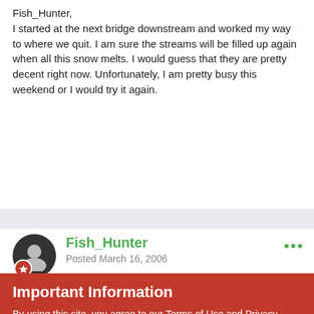Fish_Hunter,
I started at the next bridge downstream and worked my way to where we quit. I am sure the streams will be filled up again when all this snow melts. I would guess that they are pretty decent right now. Unfortunately, I am pretty busy this weekend or I would try it again.
Fish_Hunter
Posted March 16, 2006
I may try to get out just on Sunday, but we'll see. I will probably
Important Information
By using this site, you agree to our Terms of Use and Privacy Policy. We have placed cookies on your device to help make this website better. You can adjust your cookie settings, otherwise we'll assume you're okay to continue.
✔  I accept